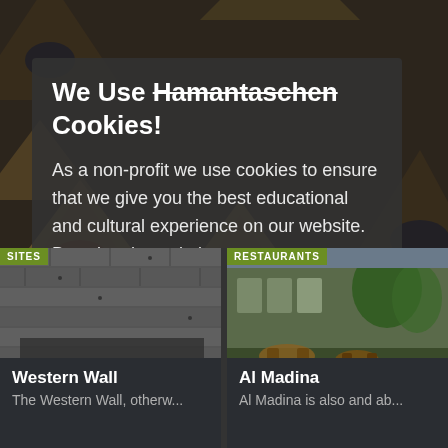[Figure (photo): Background photo of hamantaschen cookies (triangular pastries with fruit and chocolate fillings) filling the upper portion of the screen, partially darkened by modal overlay]
We Use Hamantaschen Cookies!
As a non-profit we use cookies to ensure that we give you the best educational and cultural experience on our website. By using the website you agree to our use of cookies.
Close
[Figure (photo): Card showing Western Wall (Wailing Wall) stone texture in dark grey tones with SITES tag]
Western Wall
The Western Wall, otherw...
[Figure (photo): Card showing Al Madina restaurant outdoor seating area with wooden furniture and greenery, with RESTAURANTS tag]
Al Madina
Al Madina is also and ab...